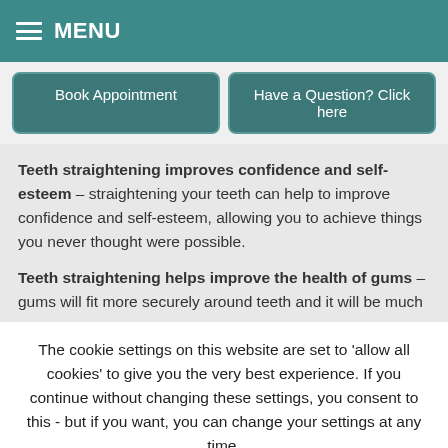MENU
Book Appointment
Have a Question? Click here
Teeth straightening improves confidence and self-esteem – straightening your teeth can help to improve confidence and self-esteem, allowing you to achieve things you never thought were possible.
Teeth straightening helps improve the health of gums – gums will fit more securely around teeth and it will be much
The cookie settings on this website are set to 'allow all cookies' to give you the very best experience. If you continue without changing these settings, you consent to this - but if you want, you can change your settings at any time.
Accept